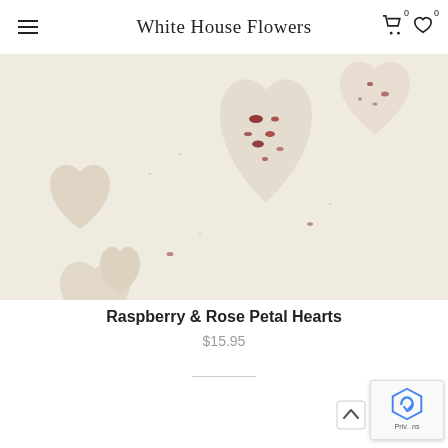White House Flowers
[Figure (photo): Heart-shaped white chocolate or soap bars decorated with dried raspberry pieces and rose petals, arranged on a white surface. Multiple heart shapes of varying sizes visible.]
Raspberry & Rose Petal Hearts
$15.95